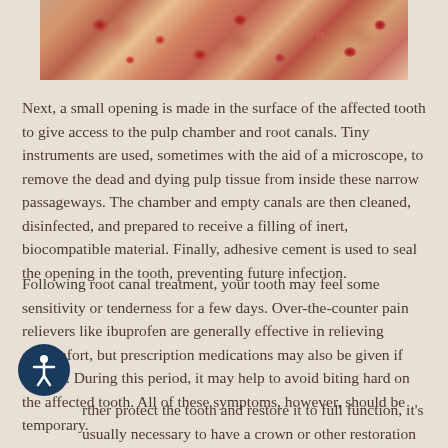[Figure (photo): Microscopic cross-section image of tooth/bone tissue showing cellular structures with red/brown and cream coloring, likely dental pulp or bone tissue under magnification]
Next, a small opening is made in the surface of the affected tooth to give access to the pulp chamber and root canals. Tiny instruments are used, sometimes with the aid of a microscope, to remove the dead and dying pulp tissue from inside these narrow passageways. The chamber and empty canals are then cleaned, disinfected, and prepared to receive a filling of inert, biocompatible material. Finally, adhesive cement is used to seal the opening in the tooth, preventing future infection.
Following root canal treatment, your tooth may feel some sensitivity or tenderness for a few days. Over-the-counter pain relievers like ibuprofen are generally effective in relieving discomfort, but prescription medications may also be given if needed. During this period, it may help to avoid biting hard on the affected tooth. All of these symptoms, however, should be temporary.
...rther protect the tooth and restore it to full function, it's usually necessary to have a crown or other restoration placed on